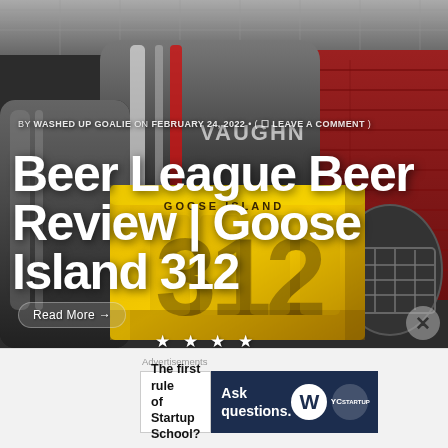[Figure (photo): Hockey equipment including Vaughn goalie gear pads, a goalie mask/helmet against a red brick wall background, with a yellow Goose Island 312 beer box in the foreground]
BY WASHED UP GOALIE ON FEBRUARY 24, 2022 • ( LEAVE A COMMENT )
Beer League Beer Review | Goose Island 312
Read More →
★ ★ ★ ★
[Figure (infographic): WordPress advertisement banner: 'The first rule of Startup School?' on the left panel and 'Ask questions.' with WordPress and partner logos on the right dark panel]